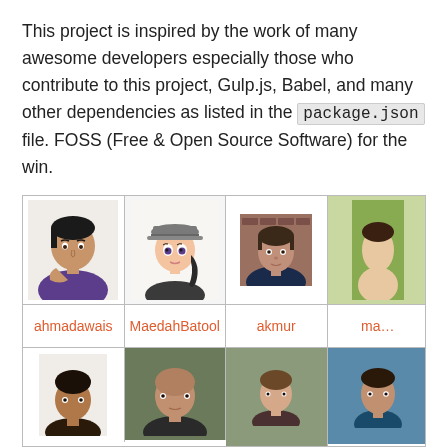This project is inspired by the work of many awesome developers especially those who contribute to this project, Gulp.js, Babel, and many other dependencies as listed in the package.json file. FOSS (Free & Open Source Software) for the win.
[Figure (photo): Grid of contributor profile photos with names. Row 1: ahmadawais (man with hand on chin, purple shirt), MaedahBatool (animated character with grey cap), akmur (man photo), and a partially visible fourth contributor. Row 2 (partial): four more contributor photos visible.]